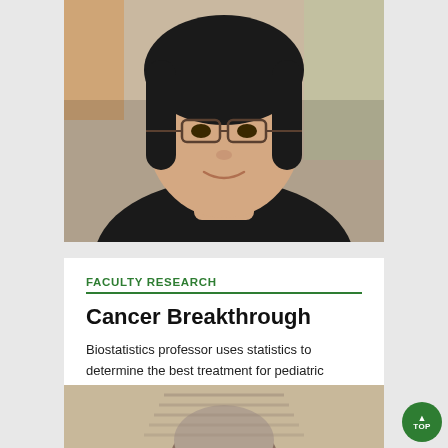[Figure (photo): Close-up photo of an Asian woman with glasses and dark hair, smiling, wearing a dark jacket. Background is blurred lab/office setting.]
FACULTY RESEARCH
Cancer Breakthrough
Biostatistics professor uses statistics to determine the best treatment for pediatric patients.
#Research, #Science/Technology, #Science/Technology, #2017 Spring
[Figure (photo): Partial photo of a person, cropped at bottom of page.]